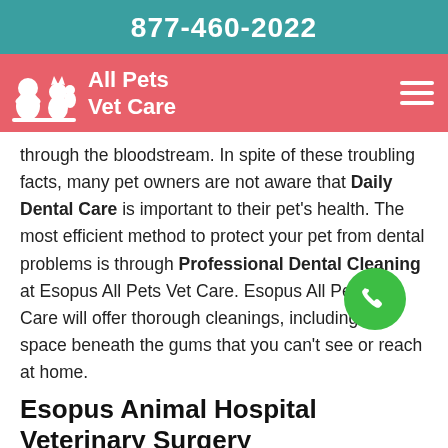877-460-2022
[Figure (logo): All Pets Vet Care logo with animal silhouettes on salmon/red background with hamburger menu icon]
through the bloodstream. In spite of these troubling facts, many pet owners are not aware that Daily Dental Care is important to their pet's health. The most efficient method to protect your pet from dental problems is through Professional Dental Cleaning at Esopus All Pets Vet Care. Esopus All Pets Vet Care will offer thorough cleanings, including the space beneath the gums that you can't see or reach at home.
Esopus Animal Hospital Veterinary Surgery
We are delighted to give Esopus, and neighboring